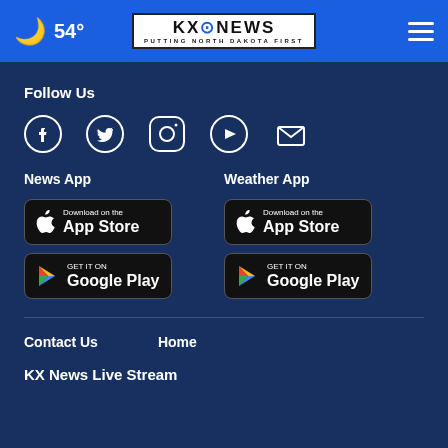🌙 54° | KX News — Putting North Dakota First
Follow Us
[Figure (infographic): Social media icons: Facebook, Twitter, Instagram, YouTube, Email]
News App
[Figure (infographic): Download on the App Store button (black)]
[Figure (infographic): Get it on Google Play button (black)]
Weather App
[Figure (infographic): Download on the App Store button (black)]
[Figure (infographic): Get it on Google Play button (black)]
Contact Us
Home
KX News Live Stream